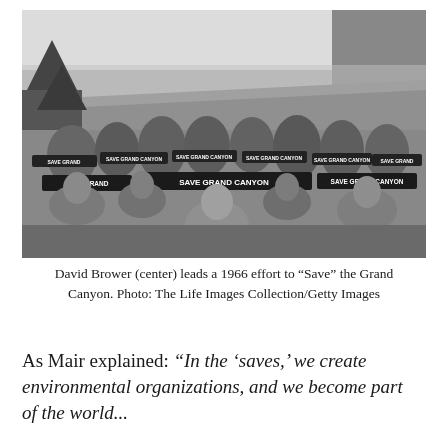[Figure (photo): Black and white photograph of a large group of people at the Grand Canyon, holding up 'Save Grand Canyon' banners and signs. David Brower is visible in the center foreground. The Grand Canyon rim and canyon landscape is visible in the background.]
David Brower (center) leads a 1966 effort to “Save” the Grand Canyon. Photo: The Life Images Collection/Getty Images
As Mair explained: “In the ‘saves,’ we create environmental organizations, and we become part of the world...